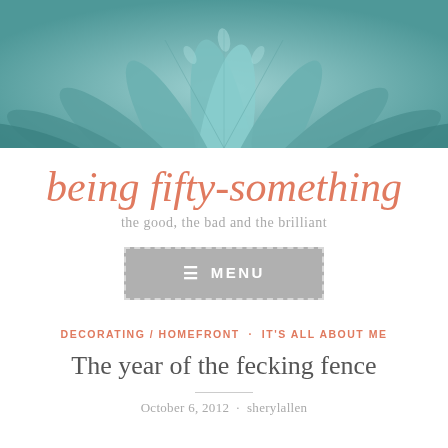[Figure (photo): Close-up photograph of teal/blue-green succulent plant leaves arranged in a rosette pattern]
being fifty-something
the good, the bad and the brilliant
[Figure (screenshot): Grey menu button with dashed border showing hamburger icon and MENU text]
DECORATING / HOMEFRONT · IT'S ALL ABOUT ME
The year of the fecking fence
October 6, 2012 · sherylallen